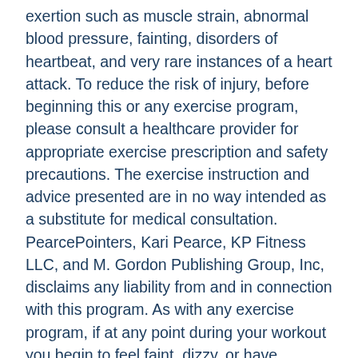exertion such as muscle strain, abnormal blood pressure, fainting, disorders of heartbeat, and very rare instances of a heart attack. To reduce the risk of injury, before beginning this or any exercise program, please consult a healthcare provider for appropriate exercise prescription and safety precautions. The exercise instruction and advice presented are in no way intended as a substitute for medical consultation. PearcePointers, Kari Pearce, KP Fitness LLC, and M. Gordon Publishing Group, Inc, disclaims any liability from and in connection with this program. As with any exercise program, if at any point during your workout you begin to feel faint, dizzy, or have physical discomfort, you should stop immediately and consult a physician.
†Results vary depending on starting point, goals and effort. Exercise and proper diet are necessary to